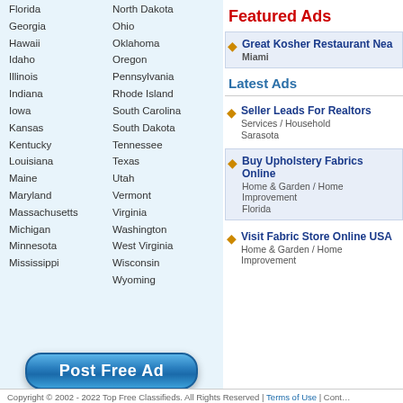Florida
North Dakota
Georgia
Ohio
Hawaii
Oklahoma
Idaho
Oregon
Illinois
Pennsylvania
Indiana
Rhode Island
Iowa
South Carolina
Kansas
South Dakota
Kentucky
Tennessee
Louisiana
Texas
Maine
Utah
Maryland
Vermont
Massachusetts
Virginia
Michigan
Washington
Minnesota
West Virginia
Mississippi
Wisconsin
Wyoming
Featured Ads
Great Kosher Restaurant Nea — Miami
Latest Ads
Seller Leads For Realtors — Services / Household — Sarasota
Buy Upholstery Fabrics Online — Home & Garden / Home Improvement — Florida
Visit Fabric Store Online USA — Home & Garden / Home Improvement
Post Free Ad
Copyright © 2002 - 2022 Top Free Classifieds. All Rights Reserved | Terms of Use | Cont…